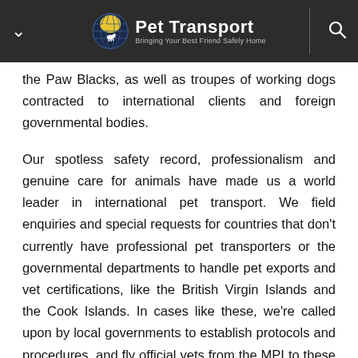Pet Transport — Bringing Your Best Friend Safely Home
the Paw Blacks, as well as troupes of working dogs contracted to international clients and foreign governmental bodies.
Our spotless safety record, professionalism and genuine care for animals have made us a world leader in international pet transport. We field enquiries and special requests for countries that don't currently have professional pet transporters or the governmental departments to handle pet exports and vet certifications, like the British Virgin Islands and the Cook Islands. In cases like these, we're called upon by local governments to establish protocols and procedures, and fly official vets from the MPI to these locations to check, vaccinate and